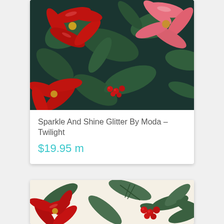[Figure (photo): Close-up photo of Christmas fabric featuring red and pink poinsettias with green holly leaves on a dark navy/teal background. Some red berries visible.]
Sparkle And Shine Glitter By Moda – Twilight
$19.95 m
[Figure (photo): Close-up photo of Christmas fabric featuring red poinsettias, green pine branches, and red berries on a cream/white background.]